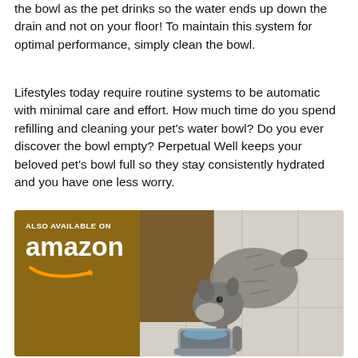the bowl as the pet drinks so the water ends up down the drain and not on your floor! To maintain this system for optimal performance, simply clean the bowl.
Lifestyles today require routine systems to be automatic with minimal care and effort. How much time do you spend refilling and cleaning your pet's water bowl? Do you ever discover the bowl empty? Perpetual Well keeps your beloved pet's bowl full so they stay consistently hydrated and you have one less worry.
[Figure (photo): Advertisement image showing 'Also Available on Amazon' text with Amazon logo on a dark wood background on the left side, and a gray schnauzer dog drinking from a Perpetual Well pet water bowl on a tiled floor on the right side.]